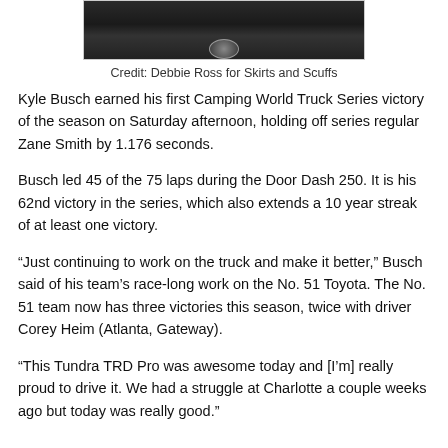[Figure (photo): Partial photo of a person holding a microphone, dark background, bottom portion visible]
Credit: Debbie Ross for Skirts and Scuffs
Kyle Busch earned his first Camping World Truck Series victory of the season on Saturday afternoon, holding off series regular Zane Smith by 1.176 seconds.
Busch led 45 of the 75 laps during the Door Dash 250. It is his 62nd victory in the series, which also extends a 10 year streak of at least one victory.
“Just continuing to work on the truck and make it better,” Busch said of his team’s race-long work on the No. 51 Toyota. The No. 51 team now has three victories this season, twice with driver Corey Heim (Atlanta, Gateway).
“This Tundra TRD Pro was awesome today and [I’m] really proud to drive it. We had a struggle at Charlotte a couple weeks ago but today was really good.”